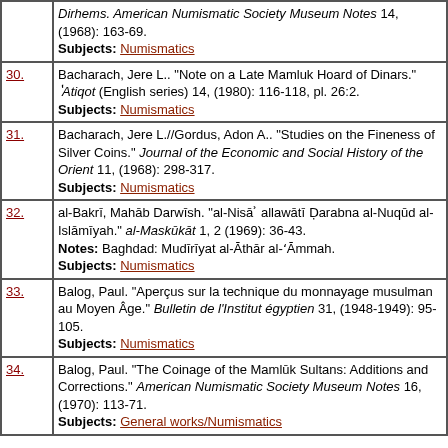| # | Reference |
| --- | --- |
|  | Dirhems. American Numismatic Society Museum Notes 14, (1968): 163-69.
Subjects: Numismatics |
| 30. | Bacharach, Jere L.. "Note on a Late Mamluk Hoard of Dinars." ʽAtiqot (English series) 14, (1980): 116-118, pl. 26:2.
Subjects: Numismatics |
| 31. | Bacharach, Jere L.//Gordus, Adon A.. "Studies on the Fineness of Silver Coins." Journal of the Economic and Social History of the Orient 11, (1968): 298-317.
Subjects: Numismatics |
| 32. | al-Bakrī, Mahāb Darwīsh. "al-Nisāʾ allawātī Ḍarabna al-Nuqūd al-Islāmīyah." al-Maskūkāt 1, 2 (1969): 36-43.
Notes: Baghdad: Mudīrīyat al-Āthār al-ʻĀmmah.
Subjects: Numismatics |
| 33. | Balog, Paul. "Aperçus sur la technique du monnayage musulman au Moyen Âge." Bulletin de l'Institut égyptien 31, (1948-1949): 95-105.
Subjects: Numismatics |
| 34. | Balog, Paul. "The Coinage of the Mamlūk Sultans: Additions and Corrections." American Numismatic Society Museum Notes 16, (1970): 113-71.
Subjects: General works/Numismatics |